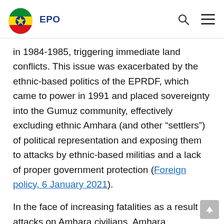EPO
in 1984-1985, triggering immediate land conflicts. This issue was exacerbated by the ethnic-based politics of the EPRDF, which came to power in 1991 and placed sovereignty into the Gumuz community, effectively excluding ethnic Amhara (and other “settlers”) of political representation and exposing them to attacks by ethnic-based militias and a lack of proper government protection (Foreign policy, 6 January 2021).
In the face of increasing fatalities as a result of attacks on Amhara civilians, Amhara authorities began to demand that additional actions be taken. In December of 2020, the Commissioner of the Amhara